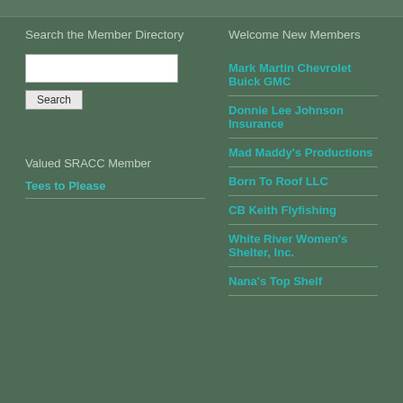Search the Member Directory
Welcome New Members
[search input box]
Search
Valued SRACC Member
Tees to Please
Mark Martin Chevrolet Buick GMC
Donnie Lee Johnson Insurance
Mad Maddy's Productions
Born To Roof LLC
CB Keith Flyfishing
White River Women's Shelter, Inc.
Nana's Top Shelf